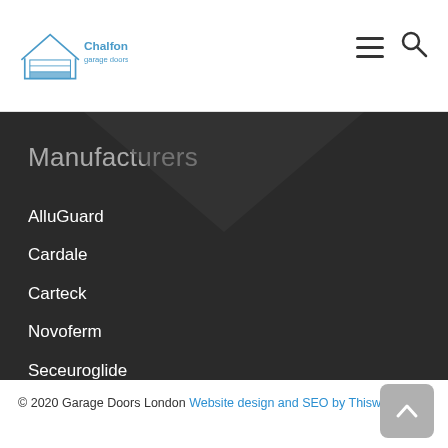[Figure (logo): Chalfont Garage Doors logo with house/door icon and blue text]
Manufacturers
AlluGuard
Cardale
Carteck
Novoferm
Seceuroglide
© 2020 Garage Doors London Website design and SEO by Thisworks